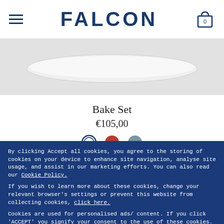FALCON
[Figure (photo): Product image showing a white ceramic bake set dish on a light grey background]
Bake Set
€105,00
[Figure (other): Three color swatch circles: white (selected, with blue outline), red/terracotta, and grey-blue]
By clicking Accept all cookies, you agree to the storing of cookies on your device to enhance site navigation, analyse site usage, and assist in our marketing efforts. You can also read our Cookie Policy.
If you wish to learn more about these cookies, change your relevant browser's settings or prevent this website from collecting cookies, click here.
Cookies are used for personalised ads/ content. If you click 'ACCEPT' you signify your consent to the use of these cookies.
ACCEPT